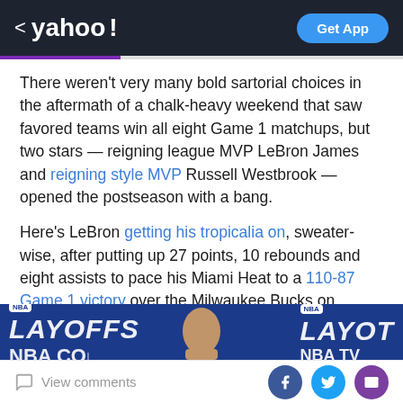yahoo! | Get App
There weren't very many bold sartorial choices in the aftermath of a chalk-heavy weekend that saw favored teams win all eight Game 1 matchups, but two stars — reigning league MVP LeBron James and reigning style MVP Russell Westbrook — opened the postseason with a bang.
Here's LeBron getting his tropicalia on, sweater-wise, after putting up 27 points, 10 rebounds and eight assists to pace his Miami Heat to a 110-87 Game 1 victory over the Milwaukee Bucks on Sunday night:
[Figure (photo): NBA Playoffs banner with partial view of a person, NBA CO and NBA TV logos visible]
View comments | Facebook | Twitter | Email